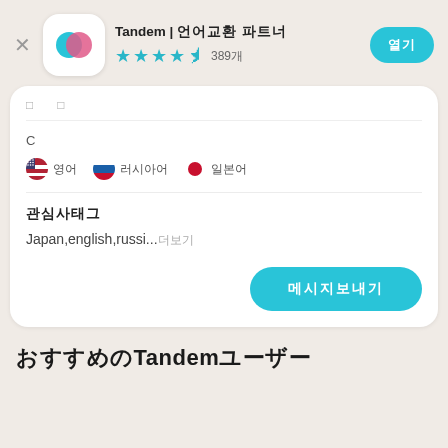Tandem | 언어교환 파트너
★★★★½ 389개
[Figure (logo): Tandem app icon: white rounded square with teal and pink overlapping speech bubble circles]
열기
С
영어  러시아어  일본어
관심사태그
Japan,english,russi...더보기
메시지보내기
おすすめのTandemユーザー